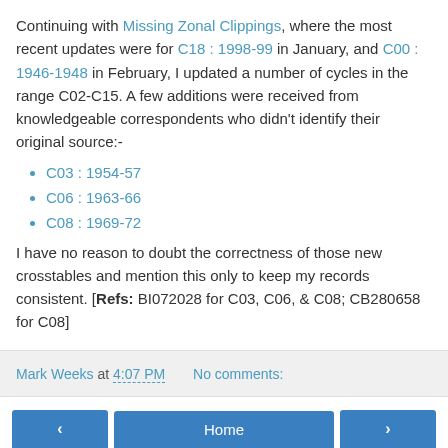Continuing with Missing Zonal Clippings, where the most recent updates were for C18 : 1998-99 in January, and C00 : 1946-1948 in February, I updated a number of cycles in the range C02-C15. A few additions were received from knowledgeable correspondents who didn't identify their original source:-
C03 : 1954-57
C06 : 1963-66
C08 : 1969-72
I have no reason to doubt the correctness of those new crosstables and mention this only to keep my records consistent. [Refs: BI072028 for C03, C06, & C08; CB280658 for C08]
Mark Weeks at 4:07 PM   No comments: